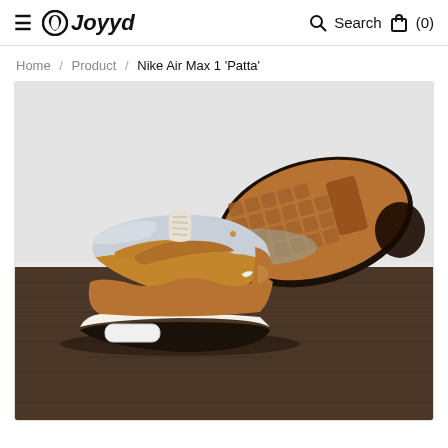≡ G Joyyd    🔍 Search 🛍 (0)
Home / Product / Nike Air Max 1 'Patta'
[Figure (photo): Nike Air Max 1 'Patta' sneakers shown from the side and bottom view. The shoe features a grey and tan/brown colorway with a wavy design on the midsole. The right shoe shows the bottom sole tread pattern in tan and dark rubber.]